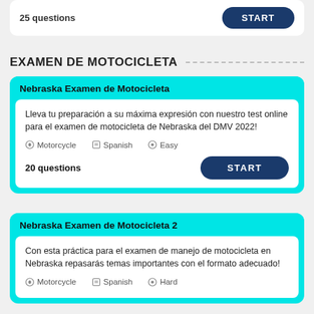25 questions
EXAMEN DE MOTOCICLETA
Nebraska Examen de Motocicleta
Lleva tu preparación a su máxima expresión con nuestro test online para el examen de motocicleta de Nebraska del DMV 2022!
Motorcycle   Spanish   Easy
20 questions
Nebraska Examen de Motocicleta 2
Con esta práctica para el examen de manejo de motocicleta en Nebraska repasarás temas importantes con el formato adecuado!
Motorcycle   Spanish   Hard